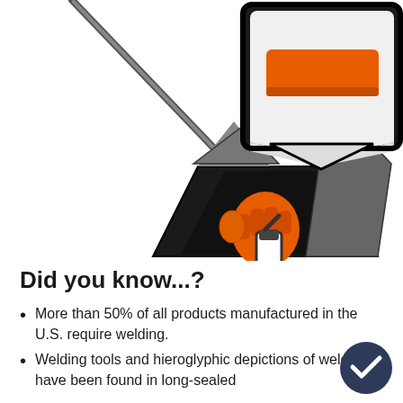[Figure (illustration): Cartoon illustration of a welder wearing a black and white welding helmet with an orange visor window, dressed in a dark outfit, holding a welding torch/gun with an orange gloved hand. A welding rod or antenna extends diagonally from upper left. The body is rendered in flat cartoon style with black outlines, gray shading on the torso/body area.]
Did you know...?
More than 50% of all products manufactured in the U.S. require welding.
Welding tools and hieroglyphic depictions of welders have been found in long-sealed